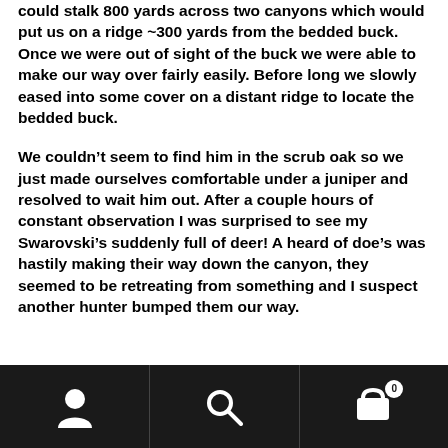could stalk 800 yards across two canyons which would put us on a ridge ~300 yards from the bedded buck.  Once we were out of sight of the buck we were able to make our way over fairly easily.  Before long we slowly eased into some cover on a distant ridge to locate the bedded buck.
We couldn't seem to find him in the scrub oak so we just made ourselves comfortable under a juniper and resolved to wait him out.  After a couple hours of constant observation I was surprised to see my Swarovski's suddenly full of deer!  A heard of doe's was hastily making their way down the canyon, they seemed to be retreating from something and I suspect another hunter bumped them our way.
Navigation bar with user, search, and cart icons